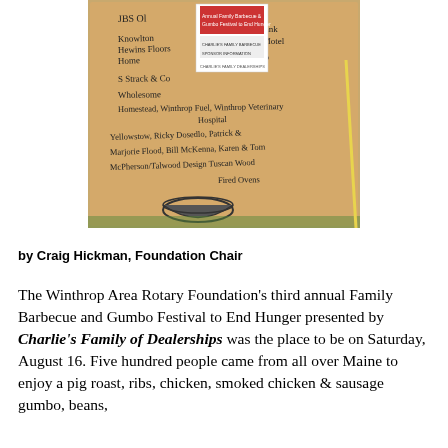[Figure (photo): A cardboard box with handwritten names of sponsors for the Winthrop Area Rotary Foundation Family Barbecue and Gumbo Festival to End Hunger. Names include JBS Ol, Knowlton Hewins Floors Home, S Strack & Co, Wholesome Homestead, Winthrop Fuel, Winthrop Veterinary Hospital, Kennabec Savings Bank, Lakeside Motel, Sam's Club, Yellowstow, Ricky Dosedlo, Patrick & Marjorie Flood, Bill McKenna, Karen & Tom McPherson/Talwood Design, Tuscan Wood Fired Ovens. A printed flyer is attached to the box. A bowl is drawn at the bottom.]
by Craig Hickman, Foundation Chair
The Winthrop Area Rotary Foundation's third annual Family Barbecue and Gumbo Festival to End Hunger presented by Charlie's Family of Dealerships was the place to be on Saturday, August 16. Five hundred people came from all over Maine to enjoy a pig roast, ribs, chicken, smoked chicken & sausage gumbo, beans,